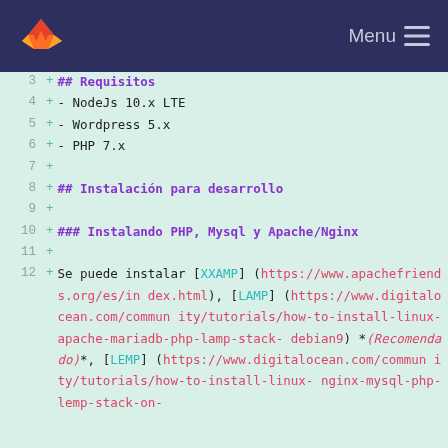GitLab — Menu
3 + ## Requisitos
4 + - NodeJs 10.x LTE
5 + - Wordpress 5.x
6 + - PHP 7.x
7 +
8 + ## Instalación para desarrollo
9 +
10 + ### Instalando PHP, Mysql y Apache/Nginx
11 +
12 + Se puede instalar [XXAMP](https://www.apachefriends.org/es/index.html), [LAMP](https://www.digitalocean.com/community/tutorials/how-to-install-linux-apache-mariadb-php-lamp-stack-debian9) *(Recomendado)*, [LEMP](https://www.digitalocean.com/community/tutorials/how-to-install-linux-nginx-mysql-php-lemp-stack-on-